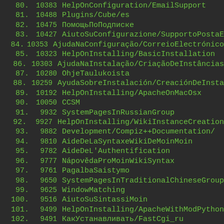80. 10383 HelpOnConfiguration/EmailSupport
81. 10488 Plugins/Cube/es
82. 10475 ПомощьПоПодписке
83. 10427 AiutoSuConfigurazione/SupportoPostaE
84. 10353 AjudaNaConfiguração/CorreioElectrónico
85. 10323 HelpOnInstalling/BasicInstallation
86. 10303 AjudaNaInstalação/CriaçãoDeInstâncias
87. 10280 OhjeTaulukoista
88. 10259 AyudaSobreInstalación/CreaciónDeInsta
89. 10192 HelpOnInstalling/ApacheOnMacOsx
90. 10050 CCSM
91. 9932 SystemPagesInRussianGroup
92. 9927 HelpOnInstalling/WikiInstanceCreation
93. 9882 Development/Compiz++Documentation/
94. 9810 AideDeLaSyntaxeWikiDeMoinMoin
95. 9782 AideDeL'Authentification
96. 9777 NápovědaProMoinWikiSyntax
97. 9761 PagalbaSaistymo
98. 9650 SystemPagesInTraditionalChineseGroup
99. 9625 WindowMatching
100. 9516 AiutoSuSintassiMoin
101. 9499 HelpOnInstalling/ApacheWithModPython
102. 9491 КакУстанавливать/FastCgi_ru
103. 9473 HilfeZuVerweisen
104. 9284 SystemPagesInFinnishGroup
105. 9237 NapovoDaRuzno